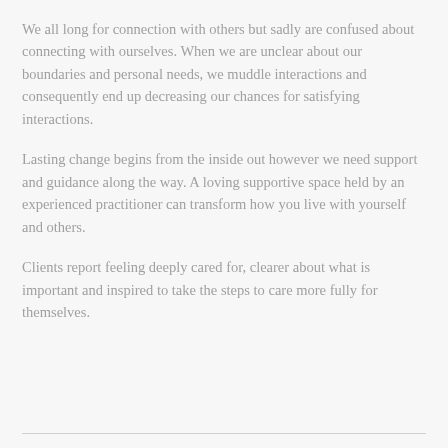We all long for connection with others but sadly are confused about connecting with ourselves. When we are unclear about our boundaries and personal needs, we muddle interactions and consequently end up decreasing our chances for satisfying interactions.
Lasting change begins from the inside out however we need support and guidance along the way. A loving supportive space held by an experienced practitioner can transform how you live with yourself and others.
Clients report feeling deeply cared for, clearer about what is important and inspired to take the steps to care more fully for themselves.